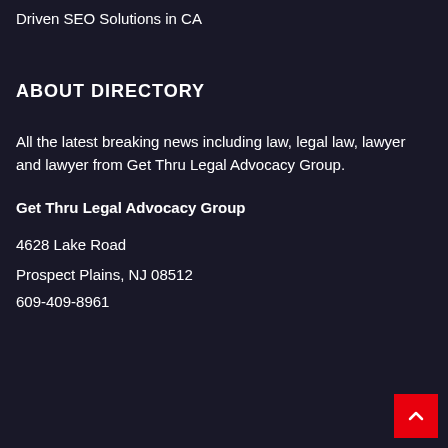Driven SEO Solutions in CA
ABOUT DIRECTORY
All the latest breaking news including law, legal law, lawyer and lawyer from Get Thru Legal Advocacy Group.
Get Thru Legal Advocacy Group
4628 Lake Road
Prospect Plains, NJ 08512
609-409-8961